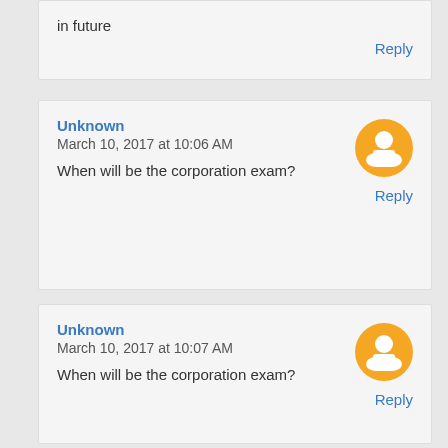in future
Reply
Unknown
March 10, 2017 at 10:06 AM
When will be the corporation exam?
Reply
Unknown
March 10, 2017 at 10:07 AM
When will be the corporation exam?
Reply